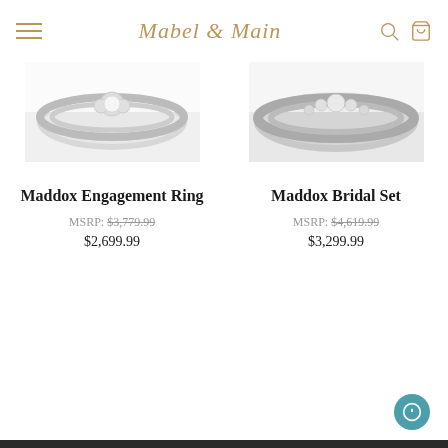Mabel & Main
[Figure (photo): Maddox Engagement Ring product image showing a diamond ring, partially visible at top]
Maddox Engagement Ring
MSRP: $3,779.99
$2,699.99
[Figure (photo): Maddox Bridal Set product image showing a diamond bridal ring set, partially visible at top]
Maddox Bridal Set
MSRP: $4,619.99
$3,299.99